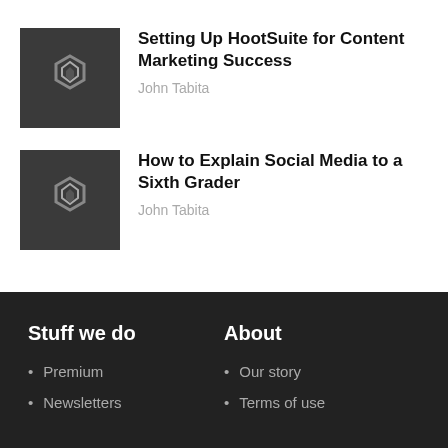[Figure (logo): Dark grey square with stylized S logo icon]
Setting Up HootSuite for Content Marketing Success
John Tabita
[Figure (logo): Dark grey square with stylized S logo icon]
How to Explain Social Media to a Sixth Grader
John Tabita
Stuff we do
About
Premium
Our story
Newsletters
Terms of use